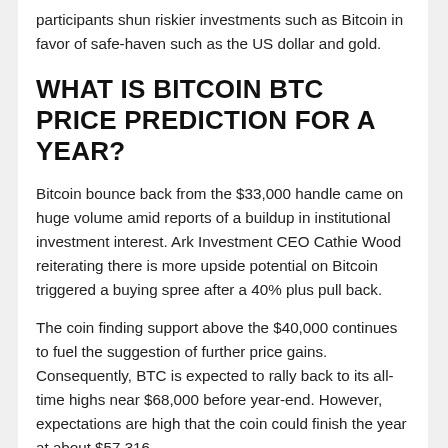participants shun riskier investments such as Bitcoin in favor of safe-haven such as the US dollar and gold.
WHAT IS BITCOIN BTC PRICE PREDICTION FOR A YEAR?
Bitcoin bounce back from the $33,000 handle came on huge volume amid reports of a buildup in institutional investment interest. Ark Investment CEO Cathie Wood reiterating there is more upside potential on Bitcoin triggered a buying spree after a 40% plus pull back.
The coin finding support above the $40,000 continues to fuel the suggestion of further price gains. Consequently, BTC is expected to rally back to its all-time highs near $68,000 before year-end. However, expectations are high that the coin could finish the year at about $57,316.